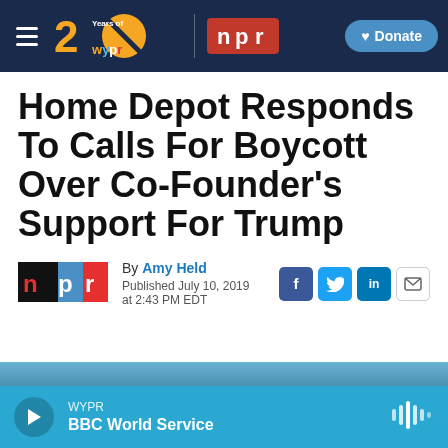WYPR 20 Years of WYPR | NPR | Donate
Home Depot Responds To Calls For Boycott Over Co-Founder's Support For Trump
By Amy Held
Published July 10, 2019 at 2:43 PM EDT
[Figure (photo): Partial image of a Home Depot store, visible at bottom of article]
WYPR BBC World Service